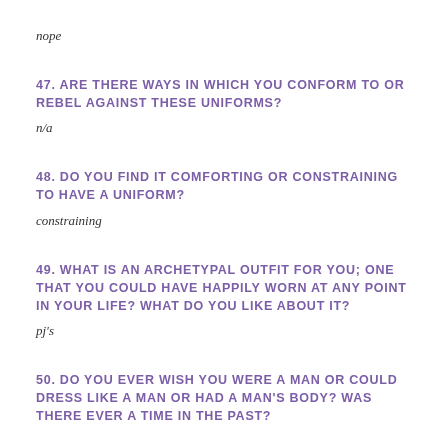nope
47. ARE THERE WAYS IN WHICH YOU CONFORM TO OR REBEL AGAINST THESE UNIFORMS?
n/a
48. DO YOU FIND IT COMFORTING OR CONSTRAINING TO HAVE A UNIFORM?
constraining
49. WHAT IS AN ARCHETYPAL OUTFIT FOR YOU; ONE THAT YOU COULD HAVE HAPPILY WORN AT ANY POINT IN YOUR LIFE? WHAT DO YOU LIKE ABOUT IT?
pj's
50. DO YOU EVER WISH YOU WERE A MAN OR COULD DRESS LIKE A MAN OR HAD A MAN'S BODY? WAS THERE EVER A TIME IN THE PAST?